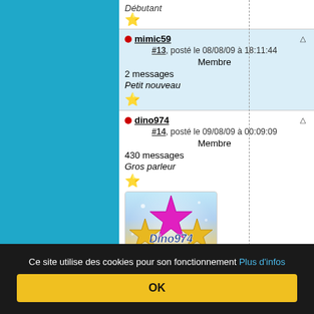Débutant
mimic59 — #13, posté le 08/08/09 à 18:11:44 — Membre — 2 messages — Petit nouveau
dino974 — #14, posté le 09/08/09 à 00:09:09 — Membre — 430 messages — Gros parleur
[Figure (illustration): Avatar of user dino974 showing a colorful star arrangement with text Dino974]
Ce site utilise des cookies pour son fonctionnement Plus d'infos
OK